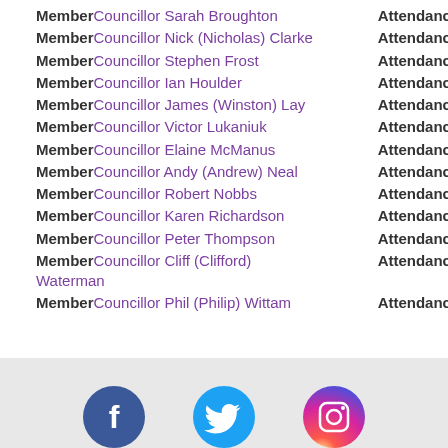Member Councillor Sarah Broughton – Attendances 1
Member Councillor Nick (Nicholas) Clarke – Attendances 2
Member Councillor Stephen Frost – Attendances 1
Member Councillor Ian Houlder – Attendances 2
Member Councillor James (Winston) Lay – Attendances 2
Member Councillor Victor Lukaniuk – Attendances 2
Member Councillor Elaine McManus – Attendances 1
Member Councillor Andy (Andrew) Neal – Attendances 2
Member Councillor Robert Nobbs – Attendances 2
Member Councillor Karen Richardson – Attendances 2
Member Councillor Peter Thompson – Attendances 2
Member Councillor Cliff (Clifford) Waterman – Attendances 2
Member Councillor Phil (Philip) Wittam – Attendances 2
[Figure (infographic): Footer bar with Facebook, Twitter, and Instagram social media icons on a light grey background]